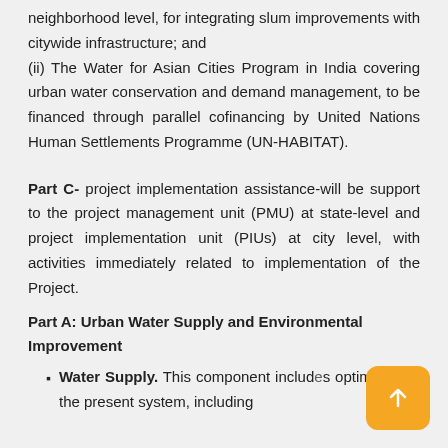neighborhood level, for integrating slum improvements with citywide infrastructure; and (ii) The Water for Asian Cities Program in India covering urban water conservation and demand management, to be financed through parallel cofinancing by United Nations Human Settlements Programme (UN-HABITAT).
Part C- project implementation assistance-will be support to the project management unit (PMU) at state-level and project implementation unit (PIUs) at city level, with activities immediately related to implementation of the Project.
Part A: Urban Water Supply and Environmental Improvement
Water Supply. This component includ[es] optimizing of the present system, including